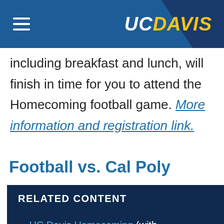UC DAVIS
including breakfast and lunch, will finish in time for you to attend the Homecoming football game. More information and registration link.
Football vs. Cal Poly
RELATED CONTENT
UC Davis Homecoming (with video)
Homecoming calendar